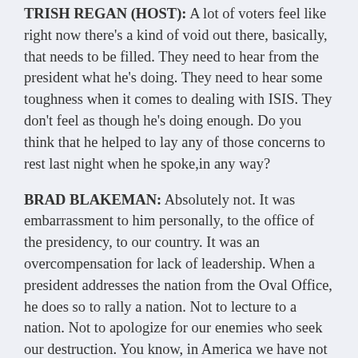TRISH REGAN (HOST): A lot of voters feel like right now there's a kind of void out there, basically, that needs to be filled. They need to hear from the president what he's doing. They need to hear some toughness when it comes to dealing with ISIS. They don't feel as though he's doing enough. Do you think that he helped to lay any of those concerns to rest last night when he spoke,in any way?
BRAD BLAKEMAN: Absolutely not. It was embarrassment to him personally, to the office of the presidency, to our country. It was an overcompensation for lack of leadership. When a president addresses the nation from the Oval Office, he does so to rally a nation. Not to lecture to a nation. Not to apologize for our enemies who seek our destruction. You know, in America we have not taken action against the Muslim people. Not at all. We have been tolerant of all religions and were not